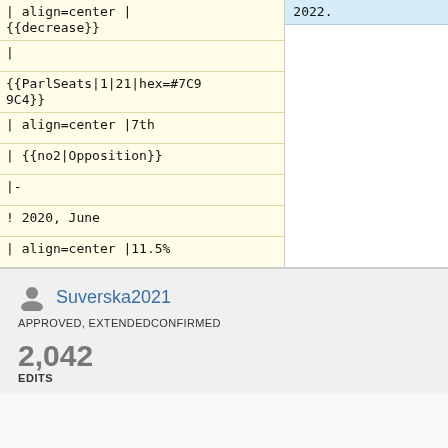2022.
| align=center |
{{decrease}}
|
{{ParlSeats|1|21|hex=#7C99C4}}
| align=center |7th
| {{no2|Opposition}}
|-
! 2020, June
| align=center |11.5%
Suverska2021
APPROVED, EXTENDEDCONFIRMED
2,042
EDITS